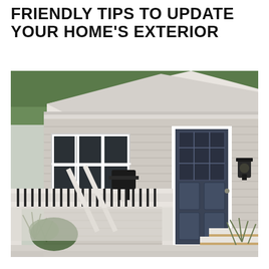FRIENDLY TIPS TO UPDATE YOUR HOME'S EXTERIOR
[Figure (photo): Exterior photo of a suburban home showing light gray horizontal vinyl siding, a dark navy blue front door with glass panes at top and raised panels at bottom, white trim surround, a wall-mounted black lantern light fixture, white deck/porch railing with dark metal balusters, wooden-tread entry steps, ornamental grasses and green shrubs in the landscaping, and trees visible in the background.]